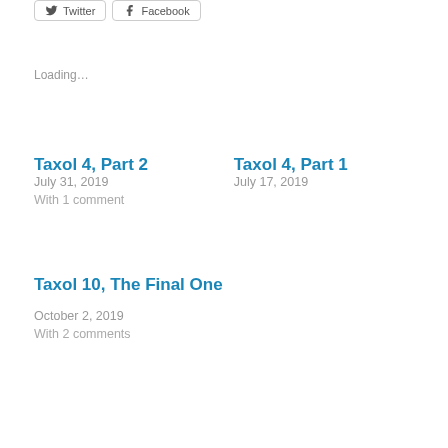[Figure (other): Twitter and Facebook share buttons at top of page]
Loading...
Taxol 4, Part 2
July 31, 2019
With 1 comment
Taxol 4, Part 1
July 17, 2019
Taxol 10, The Final One
October 2, 2019
With 2 comments